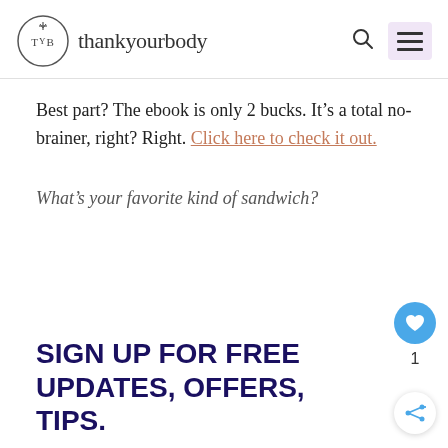thankyourbody
Best part? The ebook is only 2 bucks. It’s a total no-brainer, right? Right. Click here to check it out.
What’s your favorite kind of sandwich?
SIGN UP FOR FREE UPDATES, OFFERS, TIPS.